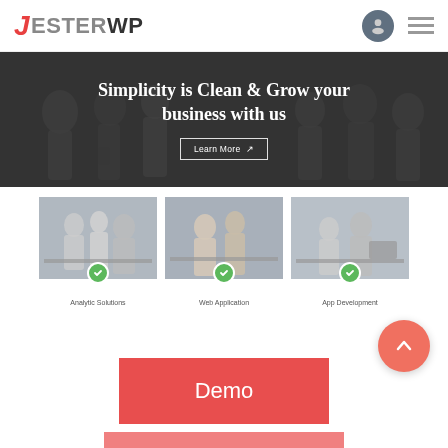JesterWP
[Figure (screenshot): Hero banner with dark overlay and business people in background. Text: 'Simplicity is Clean & Grow your business with us' with a Learn More button.]
[Figure (photo): Three cards showing business people photos labeled Analytic Solutions, Web Application, App Development with green circle icons.]
Demo
Documentation